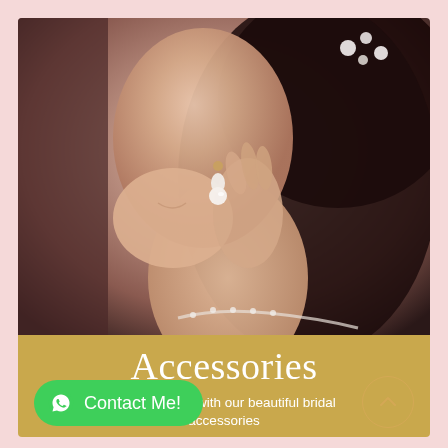[Figure (photo): Close-up photo of a bride touching her pearl drop earring, with floral hair accessory and pearl necklace strap visible. Dark hair, soft smile, skin-tone background.]
Accessories
Spoil yourself with our beautiful bridal accessories
Contact Me!